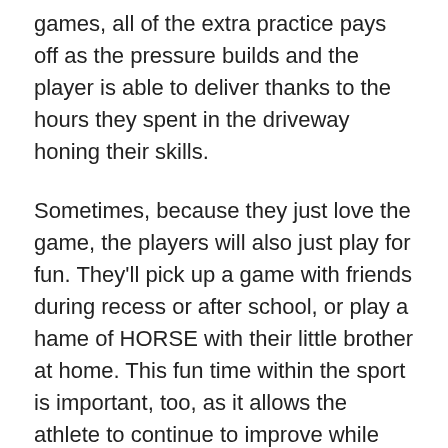games, all of the extra practice pays off as the pressure builds and the player is able to deliver thanks to the hours they spent in the driveway honing their skills.
Sometimes, because they just love the game, the players will also just play for fun. They'll pick up a game with friends during recess or after school, or play a hame of HORSE with their little brother at home. This fun time within the sport is important, too, as it allows the athlete to continue to improve while doing it in a casual and relaxed way.
Now, let's talk about riding.
Riders have teammates (their horses) and a coach (their trainer). They have